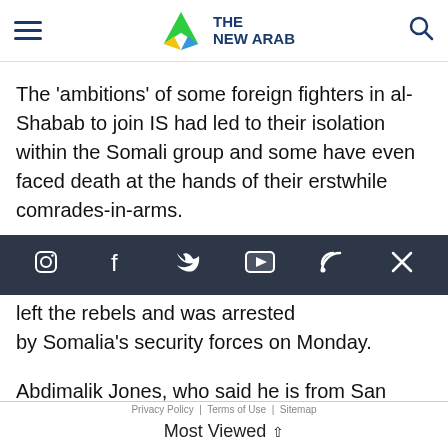THE NEW ARAB
The 'ambitions' of some foreign fighters in al-Shabab to join IS had led to their isolation within the Somali group and some have even faced death at the hands of their erstwhile comrades-in-arms.
[Figure (other): Social media navigation bar with icons for Instagram, Facebook, Twitter/X, YouTube, RSS, and close (X)]
left the rebels and was arrested by Somalia's security forces on Monday.
Abdimalik Jones, who said he is from San Diego,
Privacy Policy | Terms of Use | Sitemap | Most Viewed